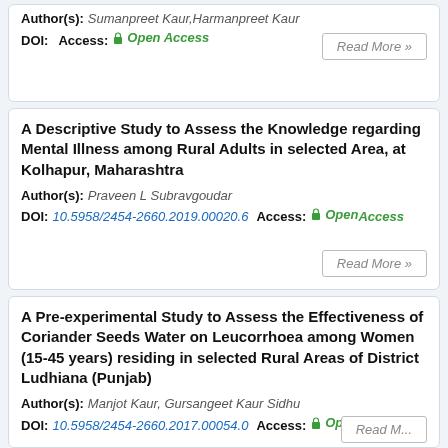Author(s): Sumanpreet Kaur, Harmanpreet Kaur
DOI: Access: Open Access
A Descriptive Study to Assess the Knowledge regarding Mental Illness among Rural Adults in selected Area, at Kolhapur, Maharashtra
Author(s): Praveen L Subravgoudar
DOI: 10.5958/2454-2660.2019.00020.6  Access: Open Access
A Pre-experimental Study to Assess the Effectiveness of Coriander Seeds Water on Leucorrhoea among Women (15-45 years) residing in selected Rural Areas of District Ludhiana (Punjab)
Author(s): Manjot Kaur, Gursangeet Kaur Sidhu
DOI: 10.5958/2454-2660.2017.00054.0  Access: Open Access